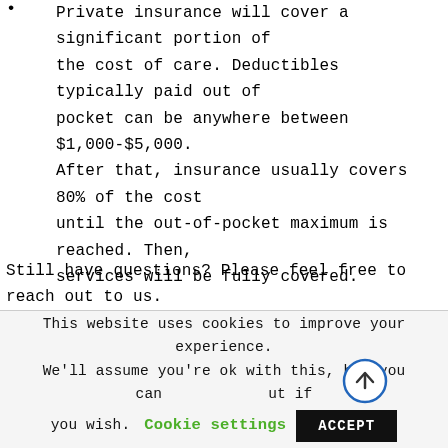Private insurance will cover a significant portion of the cost of care. Deductibles typically paid out of pocket can be anywhere between $1,000-$5,000. After that, insurance usually covers 80% of the cost until the out-of-pocket maximum is reached. Then, services will be fully covered.
Still have questions? Please feel free to reach out to us. Navigating your insurance plan can be stressful and confusing, especially when it seems you aren't receiving the individual attention you require. Parents are always
This website uses cookies to improve your experience. We'll assume you're ok with this, but you can opt out if you wish. Cookie settings ACCEPT